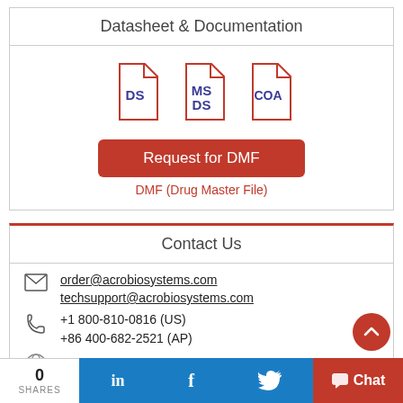Datasheet & Documentation
[Figure (infographic): Three document icons labeled DS, MSDS, and COA representing datasheet, material safety datasheet, and certificate of analysis documents]
Request for DMF
DMF (Drug Master File)
Contact Us
order@acrobiosystems.com
techsupport@acrobiosystems.com
+1  800-810-0816 (US)
+86 400-682-2521 (AP)
Show All Distributors
0 SHARES  in  f  Chat